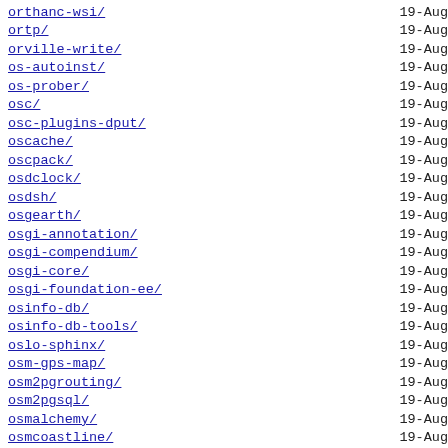orthanc-wsi/  19-Aug
ortp/  19-Aug
orville-write/  19-Aug
os-autoinst/  19-Aug
os-prober/  19-Aug
osc/  19-Aug
osc-plugins-dput/  19-Aug
oscache/  19-Aug
oscpack/  19-Aug
osdclock/  19-Aug
osdsh/  19-Aug
osgearth/  19-Aug
osgi-annotation/  19-Aug
osgi-compendium/  19-Aug
osgi-core/  19-Aug
osgi-foundation-ee/  19-Aug
osinfo-db/  19-Aug
osinfo-db-tools/  19-Aug
oslo-sphinx/  19-Aug
osm-gps-map/  19-Aug
osm2pgrouting/  19-Aug
osm2pgsql/  19-Aug
osmalchemy/  19-Aug
osmcoastline/  19-Aug
osmctools/  19-Aug
osmium-tool/  19-Aug
osmo/  19-Aug
osmo-bsc/  19-Aug
osmo-bts/  19-Aug
osmo-fl2k/  19-Aug